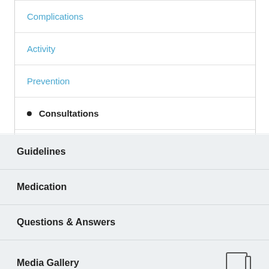Complications
Activity
Prevention
• Consultations
Long-Term Monitoring
Guidelines
Medication
Questions & Answers
Media Gallery